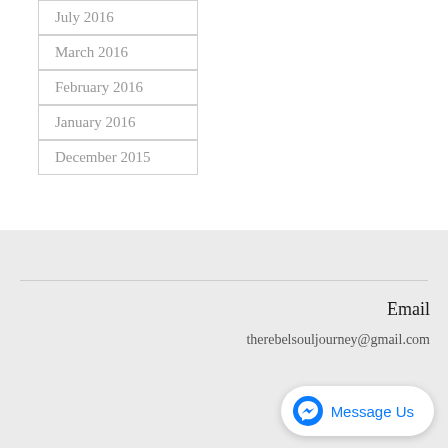July 2016
March 2016
February 2016
January 2016
December 2015
Email
therebelsouljourney@gmail.com
[Figure (screenshot): Facebook Messenger 'Message Us' button widget]